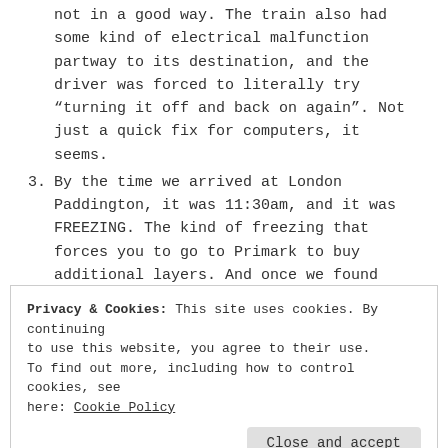not in a good way. The train also had some kind of electrical malfunction partway to its destination, and the driver was forced to literally try “turning it off and back on again”. Not just a quick fix for computers, it seems.
3. By the time we arrived at London Paddington, it was 11:30am, and it was FREEZING. The kind of freezing that forces you to go to Primark to buy additional layers. And once we found ourselves outside Primark at Marble
Privacy & Cookies: This site uses cookies. By continuing to use this website, you agree to their use.
To find out more, including how to control cookies, see here: Cookie Policy
Close and accept
Circus, China Town, Leicester Square,